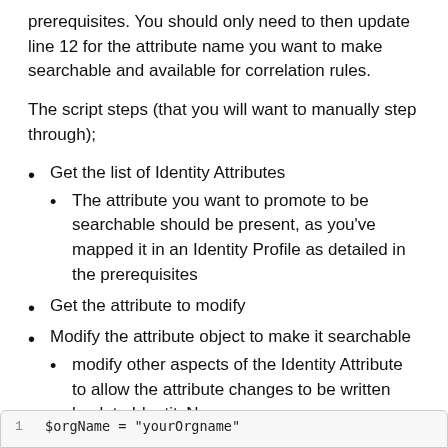prerequisites. You should only need to then update line 12 for the attribute name you want to make searchable and available for correlation rules.
The script steps (that you will want to manually step through);
Get the list of Identity Attributes
The attribute you want to promote to be searchable should be present, as you've mapped it in an Identity Profile as detailed in the prerequisites
Get the attribute to modify
Modify the attribute object to make it searchable
modify other aspects of the Identity Attribute to allow the attribute changes to be written back to IdentityNow
Update the attribute in IdentityNow